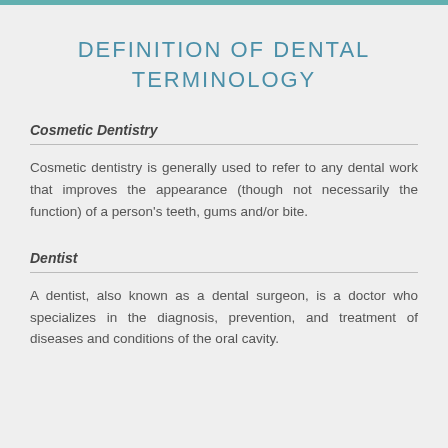DEFINITION OF DENTAL TERMINOLOGY
Cosmetic Dentistry
Cosmetic dentistry is generally used to refer to any dental work that improves the appearance (though not necessarily the function) of a person's teeth, gums and/or bite.
Dentist
A dentist, also known as a dental surgeon, is a doctor who specializes in the diagnosis, prevention, and treatment of diseases and conditions of the oral cavity.